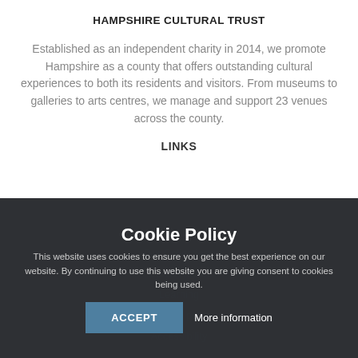HAMPSHIRE CULTURAL TRUST
Established as an independent charity in 2014, we promote Hampshire as a county that offers outstanding cultural experiences to both its residents and visitors. From museums to galleries to arts centres, we manage and support 23 venues across the county.
LINKS
Cookie Policy
This website uses cookies to ensure you get the best experience on our website. By continuing to use this website you are giving consent to cookies being used.
ACCEPT   More information